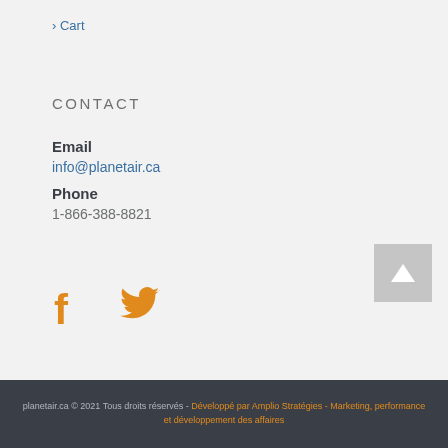> Cart
CONTACT
Email
info@planetair.ca
Phone
1-866-388-8821
[Figure (other): Orange Facebook and Twitter social media icons]
[Figure (other): Grey scroll-to-top button with white upward arrow]
planetair.ca © 2021 Tous droits réservés - Développé par Amplio Stratégies - Marketing, performance et développement des affaires